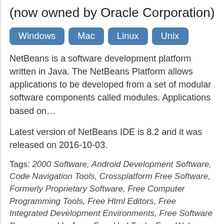(now owned by Oracle Corporation)
[Figure (other): Platform badges: Windows, Mac, Linux, Unix]
NetBeans is a software development platform written in Java. The NetBeans Platform allows applications to be developed from a set of modular software components called modules. Applications based on…
Latest version of NetBeans IDE is 8.2 and it was released on 2016-10-03.
Tags: 2000 Software, Android Development Software, Code Navigation Tools, Crossplatform Free Software, Formerly Proprietary Software, Free Computer Programming Tools, Free Html Editors, Free Integrated Development Environments, Free Software Programmed In Java, Free Uml Tools, Free Web Software, Integrated Development Environments, Java Development Tools, Java Platform, Linux